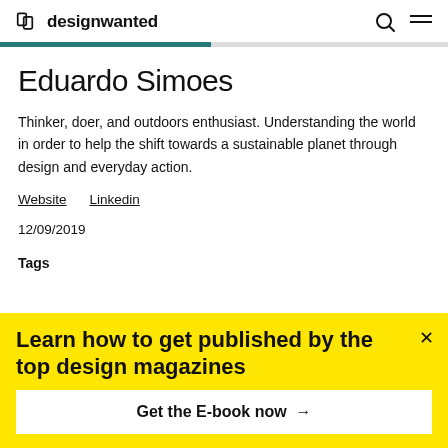designwanted
Eduardo Simoes
Thinker, doer, and outdoors enthusiast. Understanding the world in order to help the shift towards a sustainable planet through design and everyday action.
Website   Linkedin
12/09/2019
Tags
Learn how to get published by the top design magazines
Get the E-book now →